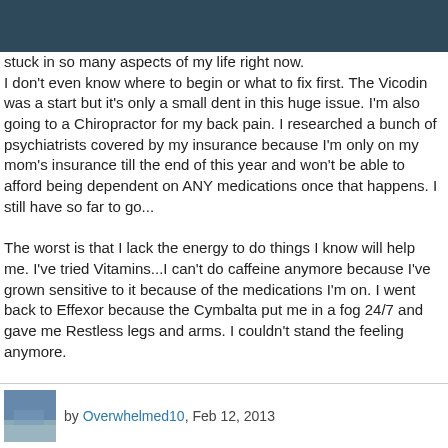stuck in so many aspects of my life right now.
I don't even know where to begin or what to fix first. The Vicodin was a start but it's only a small dent in this huge issue. I'm also going to a Chiropractor for my back pain. I researched a bunch of psychiatrists covered by my insurance because I'm only on my mom's insurance till the end of this year and won't be able to afford being dependent on ANY medications once that happens. I still have so far to go...

The worst is that I lack the energy to do things I know will help me. I've tried Vitamins...I can't do caffeine anymore because I've grown sensitive to it because of the medications I'm on. I went back to Effexor because the Cymbalta put me in a fog 24/7 and gave me Restless legs and arms. I couldn't stand the feeling anymore.

I feel so helpless/hopeless right now. Don't know where to turn anymore.
[Figure (photo): Small avatar thumbnail photo of a coastal scene]
by Overwhelmed10, Feb 12, 2013
Oh honey-I just want to give you a big hug. ..Oh how I know how you feel! I kow empathizing with you isn't helping your situation one bit-but I want you to know you are not alone, and that someone else is going through exact same thing. I could've written this myself-right down to the messy partner ;). Its hard when you are neat freak and you cannot clean-I'm there RIGHT now and now everything is such a mess I'm completely overwhelmed. I want to say this you are SO young and